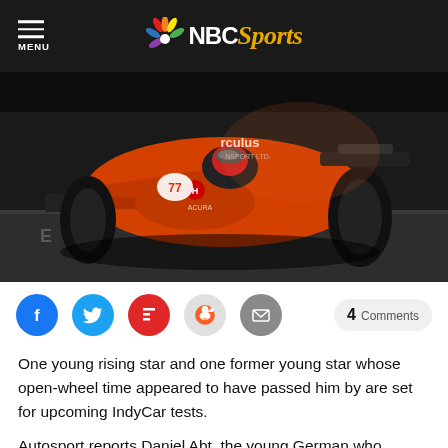NBC Sports
[Figure (photo): Orange IndyCar racing car on track, close-up front view, with 'rculus' branding visible on car body, dark background]
[Figure (infographic): Social sharing buttons: Facebook, Twitter, Flipboard, Reddit, Email, and 4 Comments button]
One young rising star and one former young star whose open-wheel time appeared to have passed him by are set for upcoming IndyCar tests.
Autosport reports Daniel Abt, the young German who